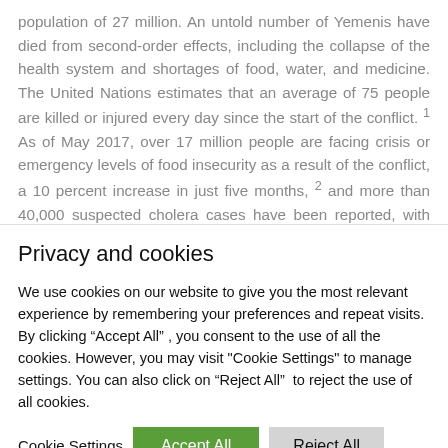population of 27 million. An untold number of Yemenis have died from second-order effects, including the collapse of the health system and shortages of food, water, and medicine. The United Nations estimates that an average of 75 people are killed or injured every day since the start of the conflict. 1 As of May 2017, over 17 million people are facing crisis or emergency levels of food insecurity as a result of the conflict, a 10 percent increase in just five months, 2 and more than 40,000 suspected cholera cases have been reported, with estimates that the total number could escalate to more than 300,000 cases by the end of
Privacy and cookies
We use cookies on our website to give you the most relevant experience by remembering your preferences and repeat visits. By clicking “Accept All”, you consent to the use of all the cookies. However, you may visit "Cookie Settings" to manage settings. You can also click on “Reject All” to reject the use of all cookies.